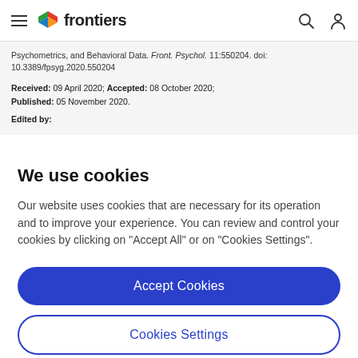frontiers
Psychometrics, and Behavioral Data. Front. Psychol. 11:550204. doi: 10.3389/fpsyg.2020.550204
Received: 09 April 2020; Accepted: 08 October 2020; Published: 05 November 2020.
Edited by:
We use cookies
Our website uses cookies that are necessary for its operation and to improve your experience. You can review and control your cookies by clicking on "Accept All" or on "Cookies Settings".
Accept Cookies
Cookies Settings